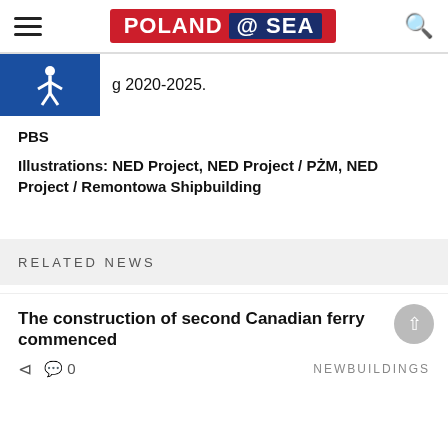POLAND @ SEA
g 2020-2025.
PBS
Illustrations: NED Project, NED Project / PŻM, NED Project / Remontowa Shipbuilding
RELATED NEWS
The construction of second Canadian ferry commenced
0  NEWBUILDINGS